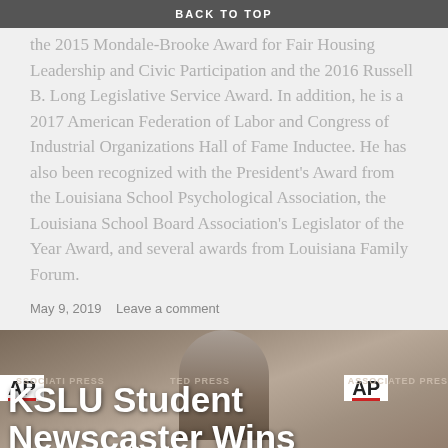the 2015 Mondale-Brooke Award for Fair Housing Leadership and Civic Participation and the 2016 Russell B. Long Legislative Service Award. In addition, he is a 2017 American Federation of Labor and Congress of Industrial Organizations Hall of Fame Inductee. He has also been recognized with the President's Award from the Louisiana School Psychological Association, the Louisiana School Board Association's Legislator of the Year Award, and several awards from Louisiana Family Forum.
May 9, 2019    Leave a comment
[Figure (photo): A young man in a suit holding an award plaque at an Associated Press event backdrop, with AP logos visible in background.]
KSLU Student Newscaster Wins Multiple AP Awards